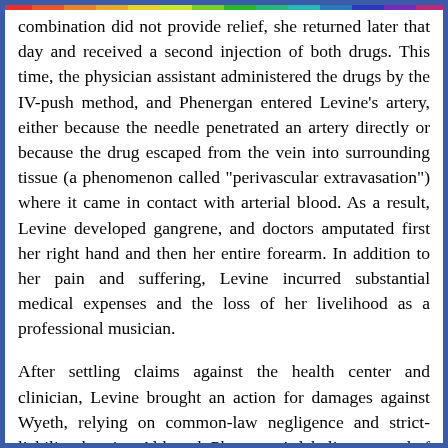combination did not provide relief, she returned later that day and received a second injection of both drugs. This time, the physician assistant administered the drugs by the IV-push method, and Phenergan entered Levine's artery, either because the needle penetrated an artery directly or because the drug escaped from the vein into surrounding tissue (a phenomenon called "perivascular extravasation") where it came in contact with arterial blood. As a result, Levine developed gangrene, and doctors amputated first her right hand and then her entire forearm. In addition to her pain and suffering, Levine incurred substantial medical expenses and the loss of her livelihood as a professional musician.
After settling claims against the health center and clinician, Levine brought an action for damages against Wyeth, relying on common-law negligence and strict-liability theories. Although Phenergan's labeling warned of the danger of